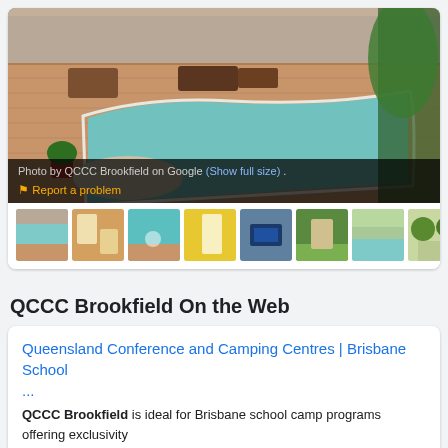[Figure (photo): Main photo of QCCC Brookfield showing outdoor swimming pool with timber deck, patio furniture, and tropical foliage]
Photo by QCCC Brookfield on Google (Show full size) . ⚑ Report a problem
[Figure (photo): Row of thumbnail images showing various facilities at QCCC Brookfield including pool, rooms, and grounds]
QCCC Brookfield On the Web
Queensland Conference and Camping Centres | Brisbane School ...
QCCC Brookfield is ideal for Brisbane school camp programs offering exclusivity